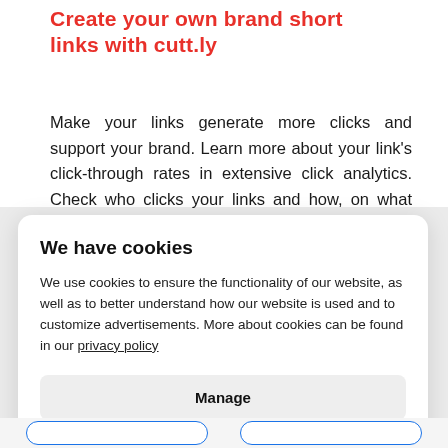Create your own brand short links with cutt.ly
Make your links generate more clicks and support your brand. Learn more about your link's click-through rates in extensive click analytics. Check who clicks your links and how, on what devices
We have cookies
We use cookies to ensure the functionality of our website, as well as to better understand how our website is used and to customize advertisements. More about cookies can be found in our privacy policy
Manage
Accept all